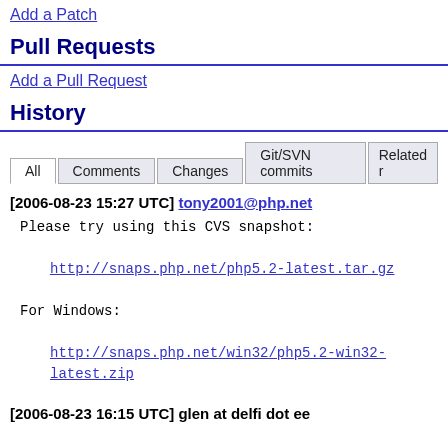Add a Patch
Pull Requests
Add a Pull Request
History
All | Comments | Changes | Git/SVN commits | Related r
[2006-08-23 15:27 UTC] tony2001@php.net
Please try using this CVS snapshot:

    http://snaps.php.net/php5.2-latest.tar.gz

For Windows:

    http://snaps.php.net/win32/php5.2-win32-latest.zip
[2006-08-23 16:15 UTC] glen at delfi dot ee